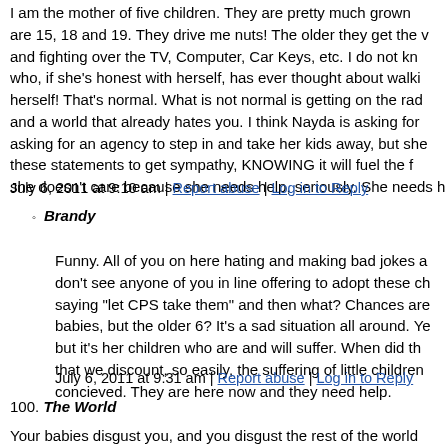I am the mother of five children. They are pretty much grown are 15, 18 and 19. They drive me nuts! The older they get the and fighting over the TV, Computer, Car Keys, etc. I do not kn who, if she's honest with herself, has ever thought about walki herself! That's normal. What is not normal is getting on the ra and a world that already hates you. I think Nayda is asking fo asking for an agency to step in and take her kids away, but she these statements to get sympathy, KNOWING it will fuel the f she doesn't care because she needs help, seriously. She needs h
July 6, 2011 at 9:10 am | Report abuse | Log in to Reply
Brandy
Funny. All of you on here hating and making bad jokes a don't see anyone of you in line offering to adopt these ch saying "let CPS take them" and then what? Chances are babies, but the older 6? It's a sad situation all around. Ye but it's her children who are and will suffer. When did th that we discount, so easily, the suffering of little children concieved. They are here now and they need help.
July 6, 2011 at 9:31 am | Report abuse | Log in to Reply
100. The World
Your babies disgust you, and you disgust the rest of the world